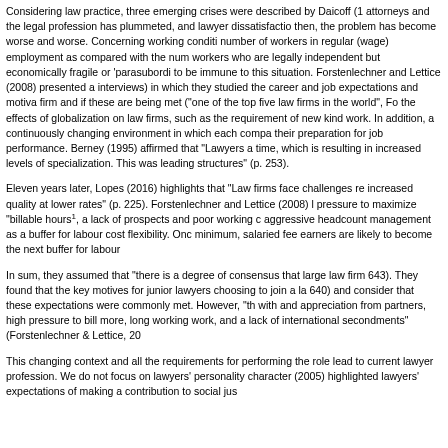Considering law practice, three emerging crises were described by Daicoff (1... attorneys and the legal profession has plummeted, and lawyer dissatisfaction... then, the problem has become worse and worse. Concerning working conditi... number of workers in regular (wage) employment as compared with the num... workers who are legally independent but economically fragile or 'parasubordi... to be immune to this situation. Forstenlechner and Lettice (2008) presented a... interviews) in which they studied the career and job expectations and motiva... firm and if these are being met ("one of the top five law firms in the world", Fo... the effects of globalization on law firms, such as the requirement of new kind... work. In addition, a continuously changing environment in which each compa... their preparation for job performance. Berney (1995) affirmed that "Lawyers a... time, which is resulting in increased levels of specialization. This was leading... structures" (p. 253).
Eleven years later, Lopes (2016) highlights that "Law firms face challenges re... increased quality at lower rates" (p. 225). Forstenlechner and Lettice (2008) l... pressure to maximize "billable hours"1, a lack of prospects and poor working c... aggressive headcount management as a buffer for labour cost flexibility. Onc... minimum, salaried fee earners are likely to become the next buffer for labour...
In sum, they assumed that "there is a degree of consensus that large law firm... 643). They found that the key motives for junior lawyers choosing to join a law... 640) and consider that these expectations were commonly met. However, "th... with and appreciation from partners, high pressure to bill more, long working... work, and a lack of international secondments" (Forstenlechner & Lettice, 20...
This changing context and all the requirements for performing the role lead to... current lawyer profession. We do not focus on lawyers' personality character... (2005) highlighted lawyers' expectations of making a contribution to social jus...